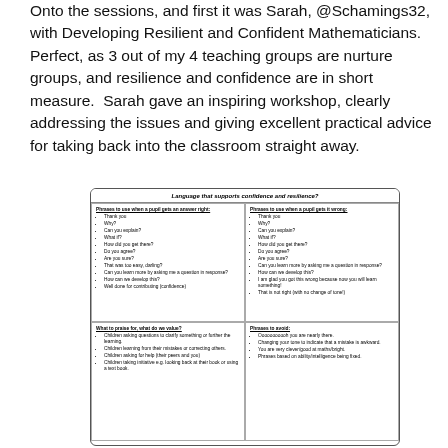Onto the sessions, and first it was Sarah, @Schamings32, with Developing Resilient and Confident Mathematicians.  Perfect, as 3 out of my 4 teaching groups are nurture groups, and resilience and confidence are in short measure.  Sarah gave an inspiring workshop, clearly addressing the issues and giving excellent practical advice for taking back into the classroom straight away.
[Figure (photo): Photograph of a printed worksheet titled 'Language that supports confidence and resilience?' divided into four quadrants: 'Phrases to use when a pupil gets an answer right' (bullet list including Thank you, Why?, Can you explain?, What if?, How did you get there?, Do you agree?, Are you sure?, That was too easy, darling?, Can you learn more by asking me a question in response?, How can we develop this?, Well done for contributing (confidence)), 'Phrases to use when a pupil gets it wrong' (bullet list including Thank you, Why?, Can you explain?, What if?, How did you get there?, Do you agree?, Are you sure?, Can you learn more by asking me a question in response?, How can we develop this?, I am glad you got this wrong because now you will learn something!, That is not right (with no change of tone!)), 'What to praise for, what do we value?' (bullet list including Children asking questions to clarify something or further the learning, Children learning from their mistakes or correcting others, Children asking for help (their peers and you), Children taking initiative e.g. looking back at their book or using a text book), 'Phrases to avoid' (bullet list including Ooooooooooh you are nearly there, Changing your tone to indicate that a mistake is awkward, You are very clever/good at maths/bright, Phrases based on ability/intelligence being fixed)]